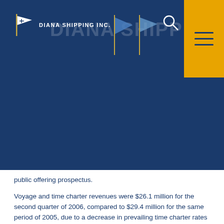[Figure (logo): Diana Shipping Inc. logo with flag icon and company name in white text on dark blue background, with yellow menu block on right]
public offering prospectus.
Voyage and time charter revenues were $26.1 million for the second quarter of 2006, compared to $29.4 million for the same period of 2005, due to a decrease in prevailing time charter rates offset by an increase in the number of vessels in the Company's fleet. Voyage and time charter revenues and net income reported for the second quarter of 2006 have been reduced by $0.8 million, reflecting the non-cash amortization of the prepaid time charter revenue of the vessel Thetis to